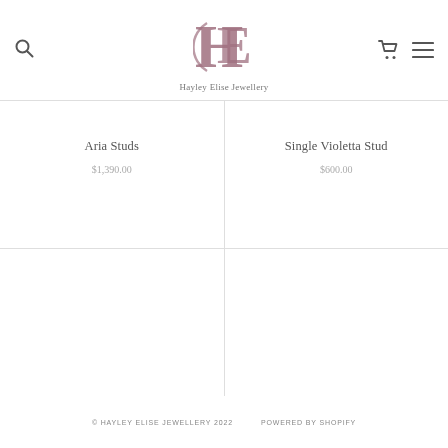Hayley Elise Jewellery
Aria Studs
$1,390.00
Single Violetta Stud
$600.00
© HAYLEY ELISE JEWELLERY 2022   POWERED BY SHOPIFY